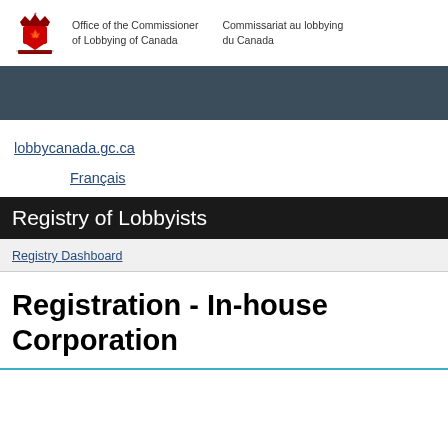[Figure (logo): Government of Canada coat of arms logo with bilingual text: Office of the Commissioner of Lobbying of Canada / Commissariat au lobbying du Canada]
Office of the Commissioner of Lobbying of Canada   Commissariat au lobbying du Canada
lobbycanada.gc.ca
Français
Registry of Lobbyists
Registry Dashboard
Registration - In-house Corporation